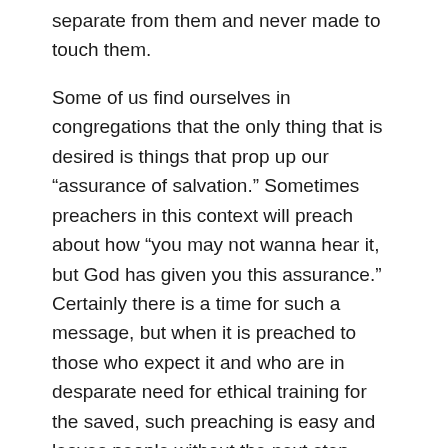separate from them and never made to touch them.
Some of us find ourselves in congregations that the only thing that is desired is things that prop up our “assurance of salvation.” Sometimes preachers in this context will preach about how “you may not wanna hear it, but God has given you this assurance.” Certainly there is a time for such a message, but when it is preached to those who expect it and who are in desparate need for ethical training for the saved, such preaching is easy and leaves people without the next step.
God’s Word Confronts
It is easy to preach what the people want to hear, whatever that is. But the prophetic gospel confronts